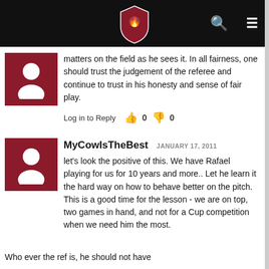BWFC Insider header with logo, search, and menu icons
matters on the field as he sees it. In all fairness, one should trust the judgement of the referee and continue to trust in his honesty and sense of fair play.
Log in to Reply   👍 0   👎 0
MyCowIsTheBest  JANUARY 17, 2011
let's look the positive of this. We have Rafael playing for us for 10 years and more.. Let he learn it the hard way on how to behave better on the pitch. This is a good time for the lesson - we are on top, two games in hand, and not for a Cup competition when we need him the most.
Who ever the ref is, he should not have